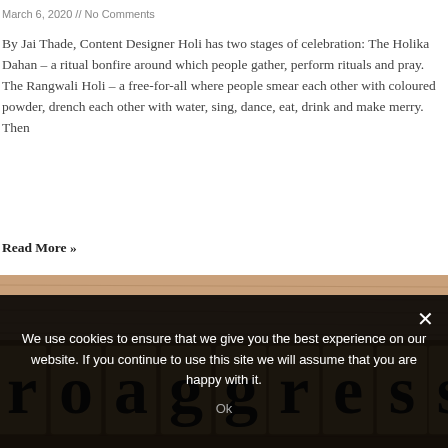March 6, 2020 // No Comments
By Jai Thade, Content Designer Holi has two stages of celebration: The Holika Dahan – a ritual bonfire around which people gather, perform rituals and pray.   The Rangwali Holi – a free-for-all where people smear each other with coloured powder, drench each other with water, sing, dance, eat, drink and make merry. Then
Read More »
[Figure (photo): Close-up photograph of wooden letter tiles on a wooden surface spelling out letters of the word 'roaggressi' (part of 'roaggression'), large scrabble-like tiles on weathered wood background]
We use cookies to ensure that we give you the best experience on our website. If you continue to use this site we will assume that you are happy with it.
Ok